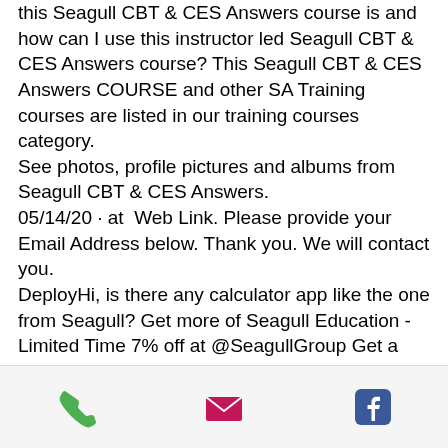this Seagull CBT & CES Answers course is and how can I use this instructor led Seagull CBT & CES Answers course? This Seagull CBT & CES Answers COURSE and other SA Training courses are listed in our training courses category.
See photos, profile pictures and albums from Seagull CBT & CES Answers.
05/14/20 · at  Web Link. Please provide your Email Address below. Thank you. We will contact you.
DeployHi, is there any calculator app like the one from Seagull? Get more of Seagull Education - Limited Time 7% off at @SeagullGroup Get a free gift & 10% off on additional classes.
Mar 14, 2012 - 19:00 CST. Original. Answers to test questions for Seagull CBT (Computer-Based Training) and CES (Crew Evaluation System).
[Figure (infographic): Footer bar with three icons: green phone icon, pink/red envelope icon, and blue Facebook icon]